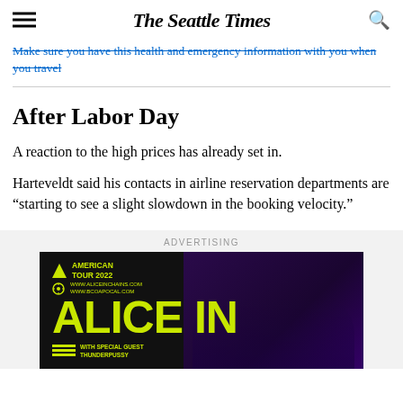The Seattle Times
Make sure you have this health and emergency information with you when you travel
After Labor Day
A reaction to the high prices has already set in.
Harteveldt said his contacts in airline reservation departments are “starting to see a slight slowdown in the booking velocity.”
ADVERTISING
[Figure (photo): Advertisement for Alice In Chains American Tour 2022 with yellow text on dark background]